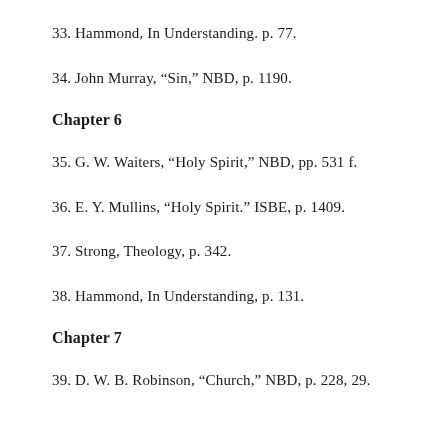33. Hammond, In Understanding. p. 77.
34. John Murray, “Sin,” NBD, p. 1190.
Chapter 6
35. G. W. Waiters, “Holy Spirit,” NBD, pp. 531 f.
36. E. Y. Mullins, “Holy Spirit.” ISBE, p. 1409.
37. Strong, Theology, p. 342.
38. Hammond, In Understanding, p. 131.
Chapter 7
39. D. W. B. Robinson, “Church,” NBD, p. 228, 29.